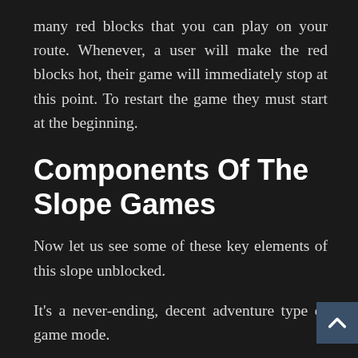many red blocks that you can play on your route. Whenever, a user will make the red blocks hot, their game will immediately stop at this point. To restart the game they must start at the beginning.
Components Of The Slope Games
Now let us see some of these key elements of this slope unblocked.
It's a never-ending, decent adventure type of game mode.
Gamers can experience the most immersive 3D experience while speeding up their speedy balls.